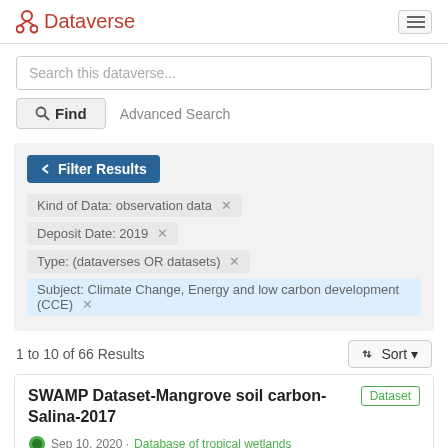Dataverse
Search this dataverse...
Find   Advanced Search
Filter Results
Kind of Data: observation data ×
Deposit Date: 2019 ×
Type: (dataverses OR datasets) ×
Subject: Climate Change, Energy and low carbon development (CCE) ×
1 to 10 of 66 Results
Sort
SWAMP Dataset-Mangrove soil carbon-Salina-2017
Dataset
Sep 10, 2020 · Database of tropical wetlands